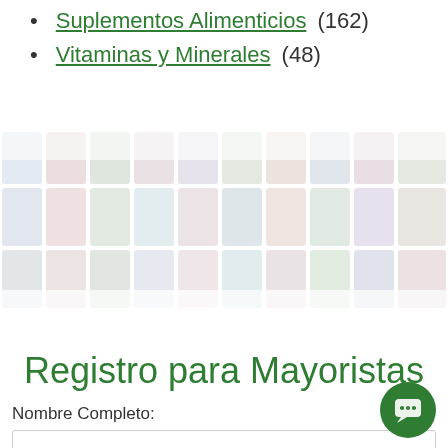Suplementos Alimenticios (162)
Vitaminas y Minerales (48)
[Figure (photo): Grid of supplement/vitamin product bottle images displayed in a faded/watermarked style, arranged in rows across the width of the page.]
Registro para Mayoristas
Nombre Completo: